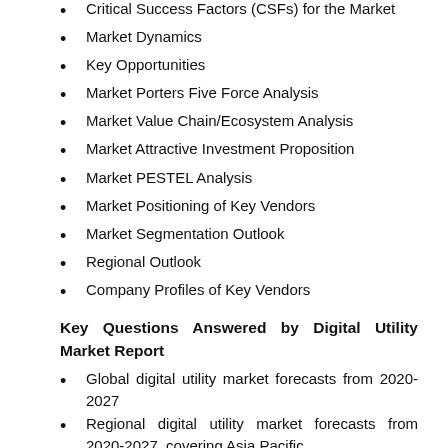Critical Success Factors (CSFs) for the Market
Market Dynamics
Key Opportunities
Market Porters Five Force Analysis
Market Value Chain/Ecosystem Analysis
Market Attractive Investment Proposition
Market PESTEL Analysis
Market Positioning of Key Vendors
Market Segmentation Outlook
Regional Outlook
Company Profiles of Key Vendors
Key Questions Answered by Digital Utility Market Report
Global digital utility market forecasts from 2020-2027
Regional digital utility market forecasts from 2020-2027, covering Asia Pacific